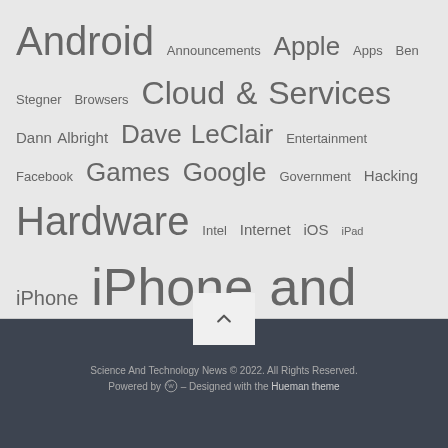Android Announcements Apple Apps Ben Stegner Browsers Cloud & Services Dann Albright Dave LeClair Entertainment Facebook Games Google Government Hacking Hardware Intel Internet iOS iPad iPhone iPhone and iPad Joel Lee Laptops Legal Mac OS X Microsoft Mihir Patkar Mobile Office Productivity Processors Productivity Save Money Security Short Siri Social Media software The Internet Tim Brookes TRBC TRBCFeature Virtual Reality Windows Windows 10
Science And Technology News © 2022. All Rights Reserved. Powered by WordPress – Designed with the Hueman theme